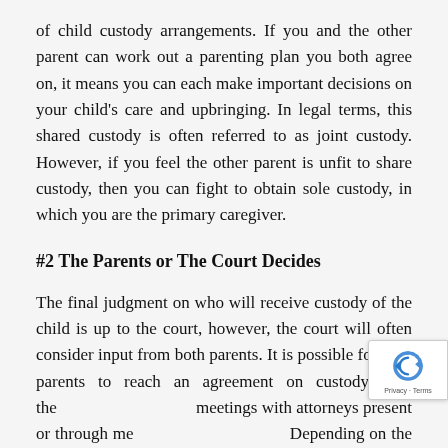of child custody arrangements. If you and the other parent can work out a parenting plan you both agree on, it means you can each make important decisions on your child's care and upbringing. In legal terms, this shared custody is often referred to as joint custody. However, if you feel the other parent is unfit to share custody, then you can fight to obtain sole custody, in which you are the primary caregiver.
#2 The Parents or The Court Decides
The final judgment on who will receive custody of the child is up to the court, however, the court will often consider input from both parents. It is possible for both parents to reach an agreement on custody with the meetings with attorneys present or through me Depending on the state, divorced parents may be required